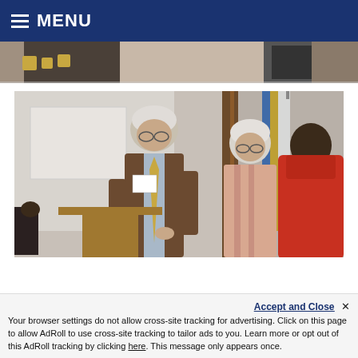MENU
[Figure (photo): Partial photo strip at top showing people at an event, partially cropped]
[Figure (photo): Indoor event photo showing an older man in a brown suit with a name badge standing at a lectern, a woman with grey hair and glasses beside him, and a person in a red hoodie with their back to camera. A flag is visible in the background.]
Accept and Close ✕
Your browser settings do not allow cross-site tracking for advertising. Click on this page to allow AdRoll to use cross-site tracking to tailor ads to you. Learn more or opt out of this AdRoll tracking by clicking here. This message only appears once.